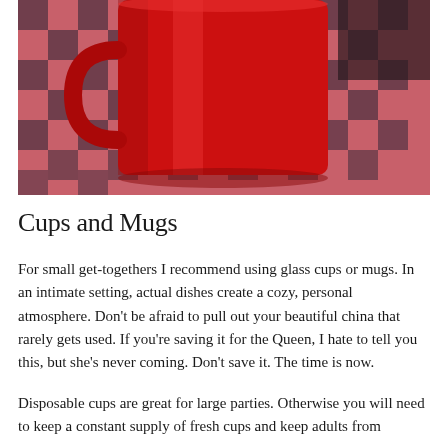[Figure (photo): A red ceramic mug sitting on a red and black checkered tablecloth. The mug is brightly colored and fills most of the frame.]
Cups and Mugs
For small get-togethers I recommend using glass cups or mugs. In an intimate setting, actual dishes create a cozy, personal atmosphere. Don't be afraid to pull out your beautiful china that rarely gets used. If you're saving it for the Queen, I hate to tell you this, but she's never coming. Don't save it. The time is now.
Disposable cups are great for large parties. Otherwise you will need to keep a constant supply of fresh cups and keep adults from